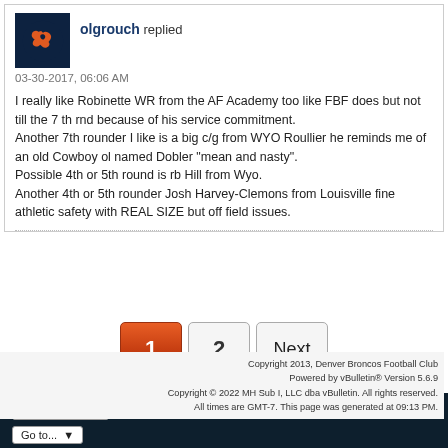olgrouch replied
03-30-2017, 06:06 AM

I really like Robinette WR from the AF Academy too like FBF does but not till the 7 th rnd because of his service commitment.
Another 7th rounder I like is a big c/g from WYO Roullier he reminds me of an old Cowboy ol named Dobler "mean and nasty".
Possible 4th or 5th round is rb Hill from Wyo.
Another 4th or 5th rounder Josh Harvey-Clemons from Louisville fine athletic safety with REAL SIZE but off field issues.
Copyright 2013, Denver Broncos Football Club
Powered by vBulletin® Version 5.6.9
Copyright © 2022 MH Sub I, LLC dba vBulletin. All rights reserved.
All times are GMT-7. This page was generated at 09:13 PM.